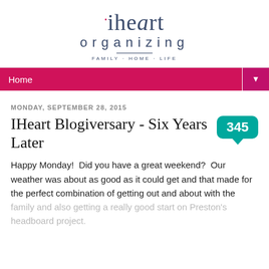[Figure (logo): iHeart Organizing logo with script text and tagline FAMILY · HOME · LIFE]
Home ▼
MONDAY, SEPTEMBER 28, 2015
IHeart Blogiversary - Six Years Later
Happy Monday!  Did you have a great weekend?  Our weather was about as good as it could get and that made for the perfect combination of getting out and about with the family and also getting a really good start on Preston's headboard project.